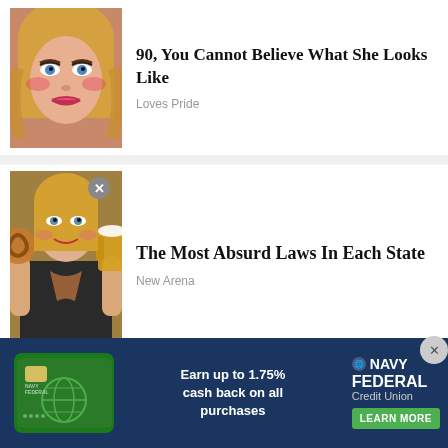[Figure (photo): Blonde woman's face close-up with heavy makeup]
90, You Cannot Believe What She Looks Like
Loves Pride
[Figure (photo): Blonde woman holding a pretzel and beer stein in Bavarian outfit]
The Most Absurd Laws In Each State
New Arena
[Figure (photo): Two warehouse workers in yellow hard hats and safety vests near a forklift in a warehouse with shelves]
[Figure (other): Navy Federal Credit Union advertisement banner: Earn up to 1.75% cash back on all purchases. LEARN MORE button. Green credit card image.]